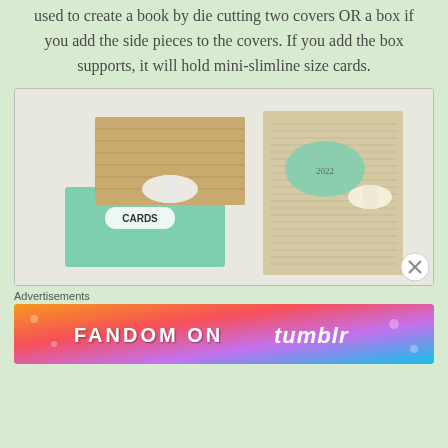used to create a book by die cutting two covers OR a box if you add the side pieces to the covers. If you add the box supports, it will hold mini-slimline size cards.
[Figure (photo): Two handmade card boxes/books: left shows a floral teal box with 'CARDS' label and brown woven cover with white ribbon; right shows a dictionary-paper covered book with teal accent and cream ribbon]
Advertisements
[Figure (other): Fandom on Tumblr advertisement banner with colorful gradient background and icons]